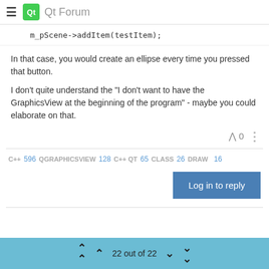Qt Forum
m_pScene->addItem(testItem);
In that case, you would create an ellipse every time you pressed that button.
I don't quite understand the "I don't want to have the GraphicsView at the beginning of the program" - maybe you could elaborate on that.
C++ 596 QGRAPHICSVIEW 128 C++ QT 65 CLASS 26 DRAW 16
Log in to reply
22 out of 22